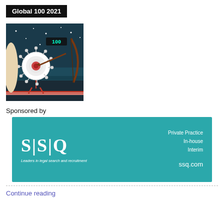Global 100 2021
[Figure (illustration): Illustrated night scene with archery bow aimed at a circular target resembling a virus/COVID cell, score display showing 100, stars in background]
Sponsored by
[Figure (logo): SSQ logo banner - teal background with S|S|Q logo, 'Leaders in legal search and recruitment', Private Practice, In-house, Interim, ssq.com]
Continue reading